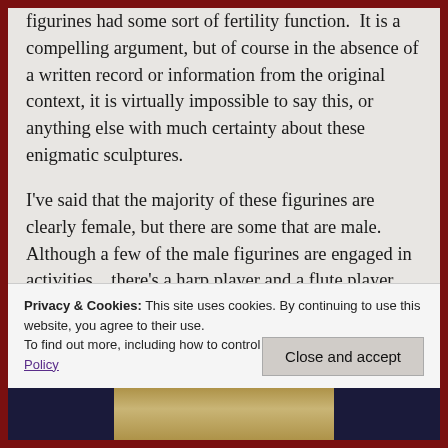figurines had some sort of fertility function. It is a compelling argument, but of course in the absence of a written record or information from the original context, it is virtually impossible to say this, or anything else with much certainty about these enigmatic sculptures.
I've said that the majority of these figurines are clearly female, but there are some that are male.  Although a few of the male figurines are engaged in activities…there's a harp player and a flute player…the majority of them take the typical crossed arm pose.
Privacy & Cookies: This site uses cookies. By continuing to use this website, you agree to their use.
To find out more, including how to control cookies, see here: Cookie Policy
[Figure (photo): Partial view of a figurine or sculpture at the bottom of the page]